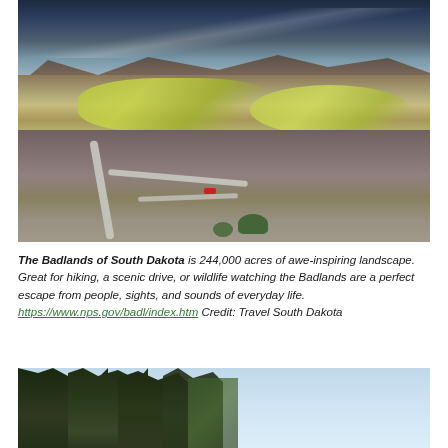[Figure (photo): Aerial view of the Badlands of South Dakota showing rugged layered rock formations, winding road with a red car, and patches of green vegetation under a dramatic cloudy sky.]
The Badlands of South Dakota is 244,000 acres of awe-inspiring landscape. Great for hiking, a scenic drive, or wildlife watching the Badlands are a perfect escape from people, sights, and sounds of everyday life. https://www.nps.gov/badl/index.htm Credit: Travel South Dakota
[Figure (photo): Partial view of tall trees with a light blue sky in the background, showing forested landscape.]